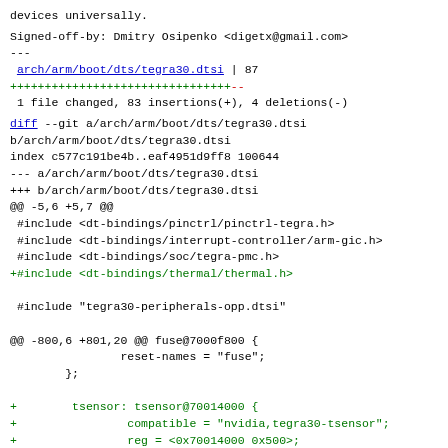devices universally.
Signed-off-by: Dmitry Osipenko <digetx@gmail.com>
---
 arch/arm/boot/dts/tegra30.dtsi | 87
++++++++++++++++++++++++++++++--
 1 file changed, 83 insertions(+), 4 deletions(-)
diff --git a/arch/arm/boot/dts/tegra30.dtsi b/arch/arm/boot/dts/tegra30.dtsi
index c577c191be4b..eaf4951d9ff8 100644
--- a/arch/arm/boot/dts/tegra30.dtsi
+++ b/arch/arm/boot/dts/tegra30.dtsi
@@ -5,6 +5,7 @@
 #include <dt-bindings/pinctrl/pinctrl-tegra.h>
 #include <dt-bindings/interrupt-controller/arm-gic.h>
 #include <dt-bindings/soc/tegra-pmc.h>
+#include <dt-bindings/thermal/thermal.h>

 #include "tegra30-peripherals-opp.dtsi"

@@ -800,6 +801,20 @@ fuse@7000f800 {
                reset-names = "fuse";
        };

+        tsensor: tsensor@70014000 {
+                compatible = "nvidia,tegra30-tsensor";
+                reg = <0x70014000 0x500>;
+                interrupts = <GIC_SPI 102 IRQ_TYPE_LEVEL_HIGH>;